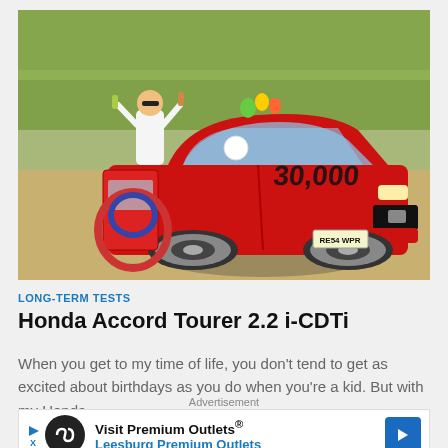[Figure (photo): A man standing next to a red Honda Accord Tourer decorated with balloons and a floral number 9, with '30,000' written on the bonnet. License plate reads RE54 WPR. Outdoor setting with trees and sandy ground.]
LONG-TERM TESTS
Honda Accord Tourer 2.2 i-CDTi
When you get to my time of life, you don't tend to get as excited about birthdays as you do when you're a kid. But with my Honda
Advertisement
[Figure (infographic): Advertisement banner for Visit Premium Outlets® / Leesburg Premium Outlets with a black circular logo with infinity-like symbol, play/close icon on left, and blue arrow icon on right.]